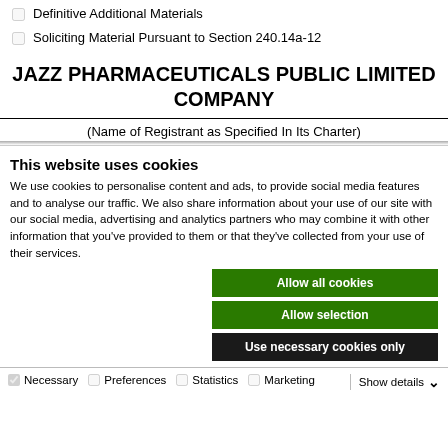☐ Definitive Additional Materials
☐ Soliciting Material Pursuant to Section 240.14a-12
JAZZ PHARMACEUTICALS PUBLIC LIMITED COMPANY
(Name of Registrant as Specified In Its Charter)
This website uses cookies
We use cookies to personalise content and ads, to provide social media features and to analyse our traffic. We also share information about your use of our site with our social media, advertising and analytics partners who may combine it with other information that you've provided to them or that they've collected from your use of their services.
Allow all cookies
Allow selection
Use necessary cookies only
Necessary  Preferences  Statistics  Marketing  Show details